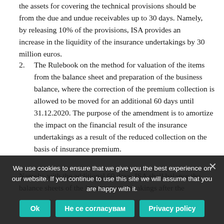the assets for covering the technical provisions should be from the due and undue receivables up to 30 days. Namely, by releasing 10% of the provisions, ISA provides an increase in the liquidity of the insurance undertakings by 30 million euros.
2. The Rulebook on the method for valuation of the items from the balance sheet and preparation of the business balance, where the correction of the premium collection is allowed to be moved for an additional 60 days until 31.12.2020. The purpose of the amendment is to amortize the impact on the financial result of the insurance undertakings as a result of the reduced collection on the basis of insurance premium.
Namely, with the additional 60 days, ISA shall balance the balance sheets of the insurance undertakings after the
We use cookies to ensure that we give you the best experience on our website. If you continue to use this site we will assume that you are happy with it.